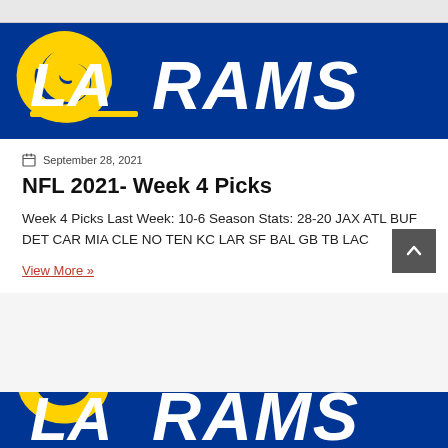[Figure (logo): LA Rams logo banner — blue background with yellow and white LA Rams logo and text]
September 28, 2021
NFL 2021- Week 4 Picks
Week 4 Picks Last Week: 10-6 Season Stats: 28-20 JAX ATL BUF DET CAR MIA CLE NO TEN KC LAR SF BAL GB TB LAC
View More »
[Figure (logo): LA Rams logo banner (partial) at bottom of page]